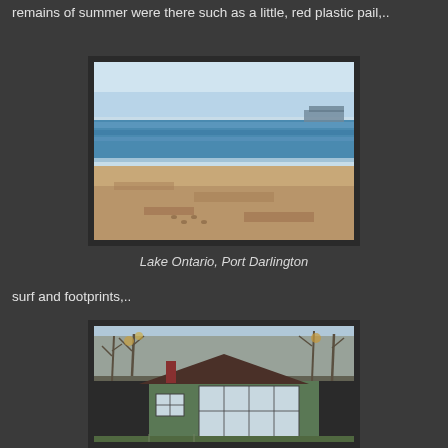remains of summer were there such as a little, red plastic pail,..
[Figure (photo): Beach scene at Lake Ontario, Port Darlington — sandy beach in foreground, blue water and horizon in background, pier visible on the right]
Lake Ontario, Port Darlington
surf and footprints,..
[Figure (photo): Small green cottage/house with dark roof, bare trees behind it, appears to be autumn or early spring]